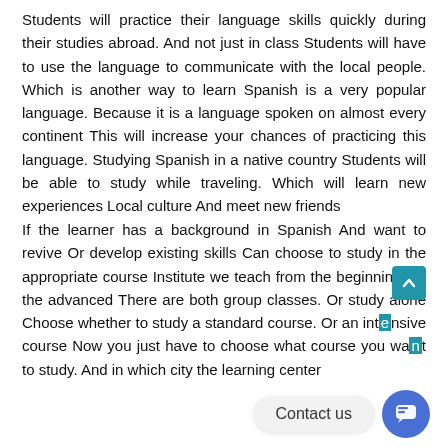Students will practice their language skills quickly during their studies abroad. And not just in class Students will have to use the language to communicate with the local people. Which is another way to learn Spanish is a very popular language. Because it is a language spoken on almost every continent This will increase your chances of practicing this language. Studying Spanish in a native country Students will be able to study while traveling. Which will learn new experiences Local culture And meet new friends
If the learner has a background in Spanish And want to revive Or develop existing skills Can choose to study in the appropriate course Institute we teach from the beginning. To the advanced There are both group classes. Or study alone Choose whether to study a standard course. Or an intensive course Now you just have to choose what course you want to study. And in which city the learning center